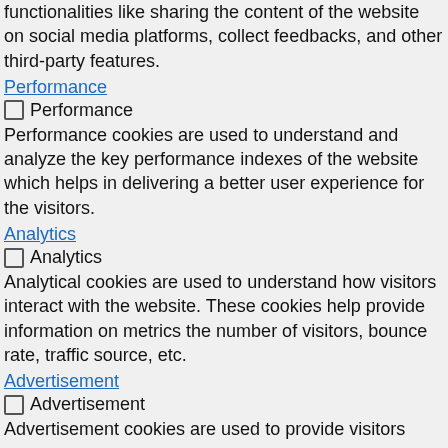functionalities like sharing the content of the website on social media platforms, collect feedbacks, and other third-party features.
Performance (link)
☐ Performance
Performance cookies are used to understand and analyze the key performance indexes of the website which helps in delivering a better user experience for the visitors.
Analytics (link)
☐ Analytics
Analytical cookies are used to understand how visitors interact with the website. These cookies help provide information on metrics the number of visitors, bounce rate, traffic source, etc.
Advertisement (link)
☐ Advertisement
Advertisement cookies are used to provide visitors